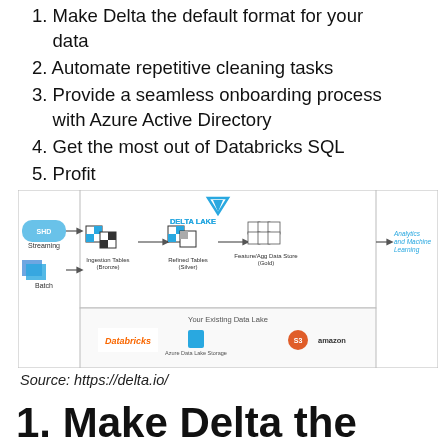1. Make Delta the default format for your data
2. Automate repetitive cleaning tasks
3. Provide a seamless onboarding process with Azure Active Directory
4. Get the most out of Databricks SQL
5. Profit
[Figure (schematic): Delta Lake architecture diagram showing Streaming and Batch inputs flowing through Ingestion Tables (Bronze), Refined Tables (Silver), Feature/Agg Data Store (Gold), feeding into Analytics and Machine Learning. Below shows Your Existing Data Lake with Databricks, Azure Data Lake Storage, and Amazon S3 logos.]
Source: https://delta.io/
1. Make Delta the default